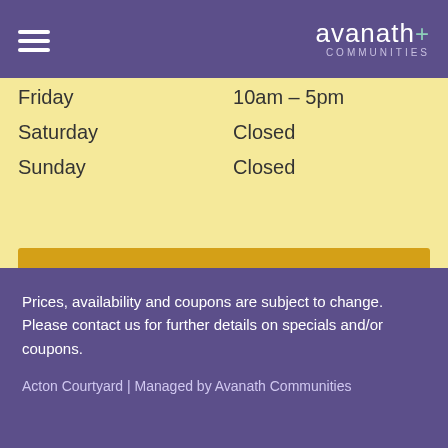avanath COMMUNITIES
| Friday | 10am – 5pm |
| Saturday | Closed |
| Sunday | Closed |
Contact us for a visit!
Share our property with friends
[Figure (illustration): Three social sharing icons: envelope (email), Facebook logo, Twitter bird]
Prices, availability and coupons are subject to change. Please contact us for further details on specials and/or coupons.

Acton Courtyard | Managed by Avanath Communities